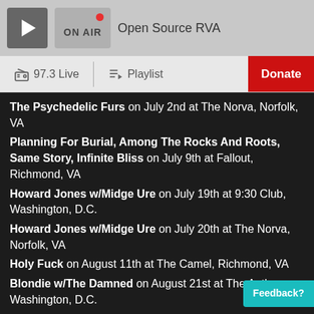[Figure (screenshot): Radio app header with play button, ON AIR indicator with red dot, and Open Source RVA station name]
97.3 Live | Playlist | Donate
The Psychedelic Furs on July 2nd at The Norva, Norfolk, VA
Planning For Burial, Among The Rocks And Roots, Same Story, Infinite Bliss on July 9th at Fallout, Richmond, VA
Howard Jones w/Midge Ure on July 19th at 9:30 Club, Washington, D.C.
Howard Jones w/Midge Ure on July 20th at The Norva, Norfolk, VA
Holy Fuck on August 11th at The Camel, Richmond, VA
Blondie w/The Damned on August 21st at The Anthem, Washington, D.C.
The Mission UK, Chameleons, Theatre Of Hate on September 9th at The Broadberry, Richmond, VA
Roxy Music on September 9th at Capital One Arena, Washington, D.C.
Shame w/They Hate Change on September 9th at Black